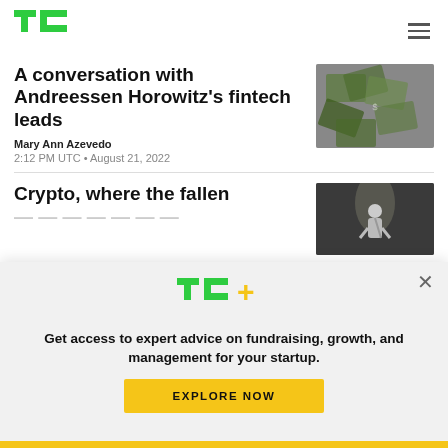[Figure (logo): TechCrunch TC green logo]
A conversation with Andreessen Horowitz's fintech leads
Mary Ann Azevedo
2:12 PM UTC • August 21, 2022
[Figure (photo): Photo of dollar bills exploding]
Crypto, where the fallen
[Figure (photo): Photo of person performing on stage]
[Figure (logo): TC+ logo in green and yellow]
Get access to expert advice on fundraising, growth, and management for your startup.
EXPLORE NOW